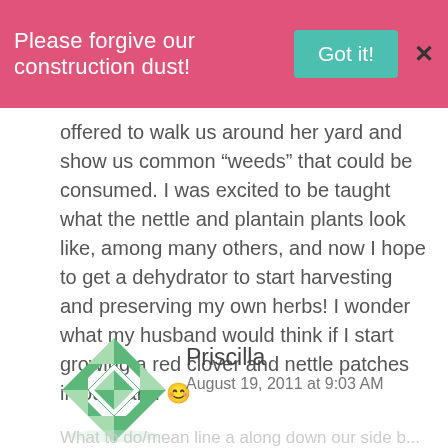Please forgive our construction dust! Got it! X
offered to walk us around her yard and show us common “weeds” that could be consumed. I was excited to be taught what the nettle and plantain plants look like, among many others, and now I hope to get a dehydrator to start harvesting and preserving my own herbs! I wonder what my husband would think if I start growing a red clover and nettle patches in our yard. 😊
Priscilla
August 19, 2011 at 9:03 AM